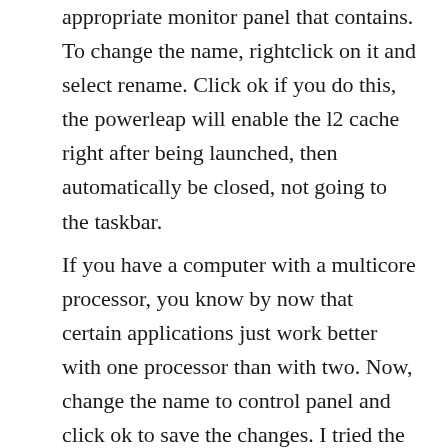appropriate monitor panel that contains. To change the name, rightclick on it and select rename. Click ok if you do this, the powerleap will enable the l2 cache right after being launched, then automatically be closed, not going to the taskbar.
If you have a computer with a multicore processor, you know by now that certain applications just work better with one processor than with two. Now, change the name to control panel and click ok to save the changes. I tried the deepsleep utill to get past the...